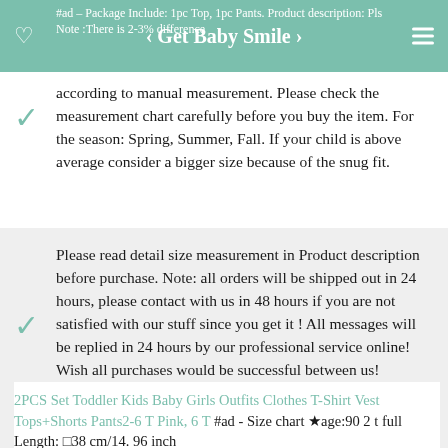‹ Get Baby Smile › #ad – Package Include: 1pc Top, 1pc Pants. Product description: Pls Note :There is 2-3% difference
according to manual measurement. Please check the measurement chart carefully before you buy the item. For the season: Spring, Summer, Fall. If your child is above average consider a bigger size because of the snug fit.
Please read detail size measurement in Product description before purchase. Note: all orders will be shipped out in 24 hours, please contact with us in 48 hours if you are not satisfied with our stuff since you get it ! All messages will be replied in 24 hours by our professional service online! Wish all purchases would be successful between us!
2PCS Set Toddler Kids Baby Girls Outfits Clothes T-Shirt Vest Tops+Shorts Pants2-6 T Pink, 6 T #ad - Size chart ★age:90 2 t full Length: □38 cm/14. 96 inch